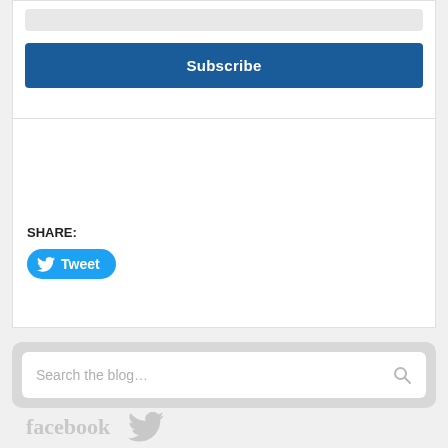[Figure (screenshot): Gray input bar at the top of a subscription form]
Subscribe
SHARE:
[Figure (other): Twitter Tweet button with bird icon]
[Figure (other): Search bar with placeholder text 'Search the blog...' and search icon]
[Figure (logo): Facebook and Twitter logos in gray at the bottom]